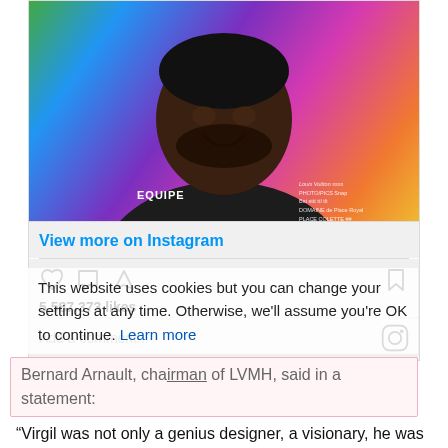[Figure (photo): Instagram post screenshot showing a smiling Black man wearing a dark Louis Vuitton branded sweatshirt with 'EQUIPE' text, against a rainbow-colored gradient background with blurred crowd. Below the photo: 'View more on Instagram' link, like/comment/share icons, '5,587,373 likes', and 'Add a comment...' field.]
This website uses cookies but you can change your settings at any time. Otherwise, we'll assume you're OK to continue.
Learn more
Bernard Arnault, chairman of LVMH, said in a statement:
“Virgil was not only a genius designer, a visionary, he was also a man with a beautiful soul and great wisdom. The